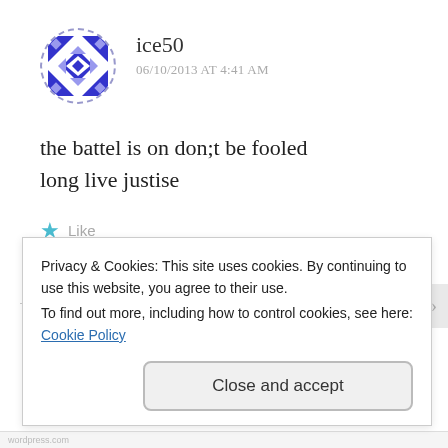ice50
06/10/2013 AT 4:41 AM
the battel is on don;t be fooled
long live justise
★ Like
Reply
Privacy & Cookies: This site uses cookies. By continuing to use this website, you agree to their use.
To find out more, including how to control cookies, see here: Cookie Policy
Close and accept